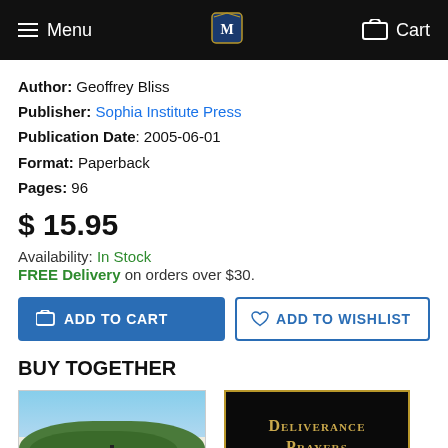Menu | [logo] | Cart
Author: Geoffrey Bliss
Publisher: Sophia Institute Press
Publication Date: 2005-06-01
Format: Paperback
Pages: 96
$ 15.95
Availability: In Stock
FREE Delivery on orders over $30.
ADD TO CART | ADD TO WISHLIST
BUY TOGETHER
[Figure (illustration): Book cover thumbnail showing a forest/nature scene with text 'MY' at the bottom in red]
[Figure (illustration): Book cover with black background and gold border showing 'DELIVERANCE PRAYERS' in gold serif text]